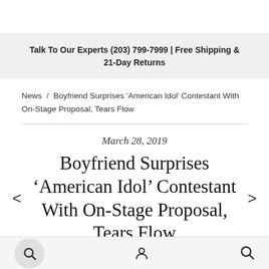Talk To Our Experts (203) 799-7999 | Free Shipping & 21-Day Returns
News / Boyfriend Surprises 'American Idol' Contestant With On-Stage Proposal, Tears Flow
March 28, 2019
Boyfriend Surprises ‘American Idol’ Contestant With On-Stage Proposal, Tears Flow
n the lead-up to her